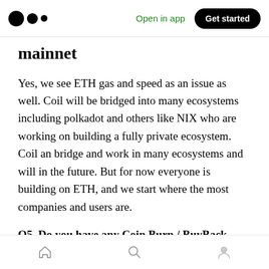Medium — Open in app  Get started
mainnet
Yes, we see ETH gas and speed as an issue as well. Coil will be bridged into many ecosystems including polkadot and others like NIX who are working on building a fully private ecosystem. Coil an bridge and work in many ecosystems and will in the future. But for now everyone is building on ETH, and we start where the most companies and users are.
Q5. Do you have any Coin Burn / BuyBack systems or any Token Burn plans to increase
Home  Search  Profile